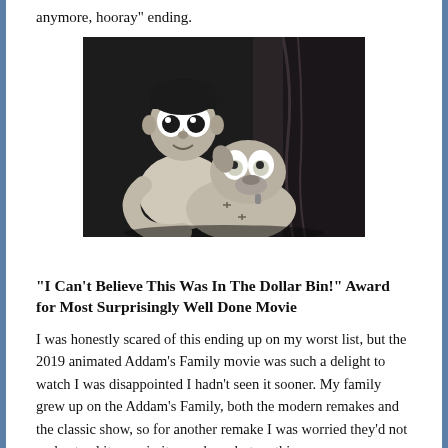anymore, hooray" ending.
[Figure (photo): Black and white still from an animated movie showing a boy character holding a stitched-together dog (Frankenweenie style), both with large expressive eyes.]
"I Can't Believe This Was In The Dollar Bin!" Award for Most Surprisingly Well Done Movie
I was honestly scared of this ending up on my worst list, but the 2019 animated Addam's Family movie was such a delight to watch I was disappointed I hadn't seen it sooner. My family grew up on the Addam's Family, both the modern remakes and the classic show, so for another remake I was worried they'd not understand it, or ruin it somehow, but no this was